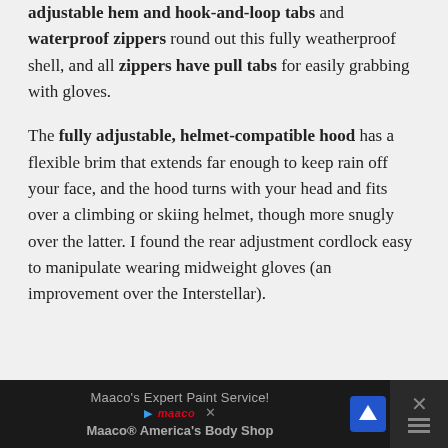adjustable hem and hook-and-loop tabs and waterproof zippers round out this fully weatherproof shell, and all zippers have pull tabs for easily grabbing with gloves.
The fully adjustable, helmet-compatible hood has a flexible brim that extends far enough to keep rain off your face, and the hood turns with your head and fits over a climbing or skiing helmet, though more snugly over the latter. I found the rear adjustment cordlock easy to manipulate wearing midweight gloves (an improvement over the Interstellar).
[Figure (other): Advertisement banner for Maaco's Expert Paint Service / Maaco America's Body Shop with logo, navigation arrow icon, and close button]